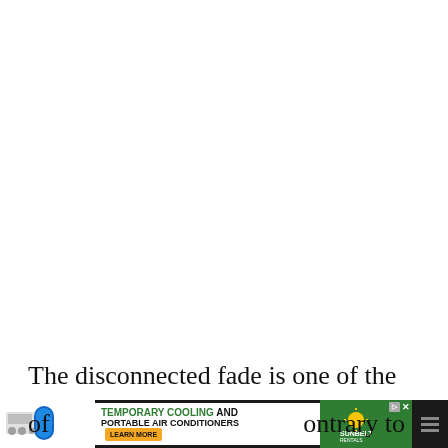[Figure (other): Large white blank area occupying the upper portion of the page]
The disconnected fade is one of the most interesting types of... contrary to what... and how...
[Figure (other): Advertisement banner: Temporary Cooling and Portable Air Conditioners with Sunbelt Rentals logo and Learn More button]